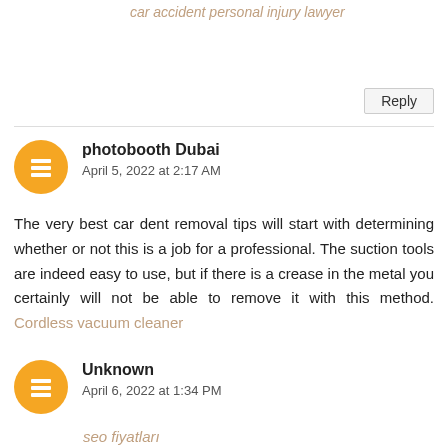car accident personal injury lawyer
Reply
photobooth Dubai
April 5, 2022 at 2:17 AM
The very best car dent removal tips will start with determining whether or not this is a job for a professional. The suction tools are indeed easy to use, but if there is a crease in the metal you certainly will not be able to remove it with this method. Cordless vacuum cleaner
Reply
Unknown
April 6, 2022 at 1:34 PM
seo fiyatları